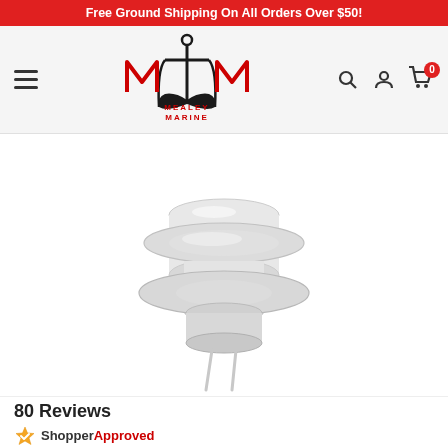Free Ground Shipping On All Orders Over $50!
[Figure (logo): Mealey Marine logo with anchor and navigation icons (hamburger menu, search, account, cart with 0 badge)]
[Figure (photo): White plastic marine fitting/connector component with flanged base and two wire leads, photographed on white background]
80 Reviews
[Figure (logo): ShopperApproved star logo with text 'ShopperApproved']